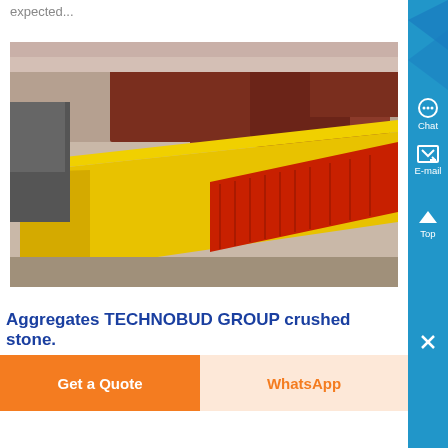expected...
[Figure (photo): Yellow industrial vibrating screen or feeder equipment lying on a surface, with red/orange colored parts visible underneath, and red industrial equipment in the background. Manufactured by TECHNOBUD GROUP.]
Aggregates TECHNOBUD GROUP crushed stone.
Get a Quote
WhatsApp